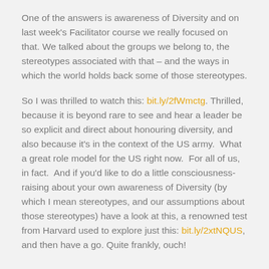One of the answers is awareness of Diversity and on last week's Facilitator course we really focused on that. We talked about the groups we belong to, the stereotypes associated with that – and the ways in which the world holds back some of those stereotypes.
So I was thrilled to watch this: bit.ly/2fWmctg. Thrilled, because it is beyond rare to see and hear a leader be so explicit and direct about honouring diversity, and also because it's in the context of the US army.  What a great role model for the US right now.  For all of us, in fact.  And if you'd like to do a little consciousness-raising about your own awareness of Diversity (by which I mean stereotypes, and our assumptions about those stereotypes) have a look at this, a renowned test from Harvard used to explore just this: bit.ly/2xtNQUS, and then have a go. Quite frankly, ouch!